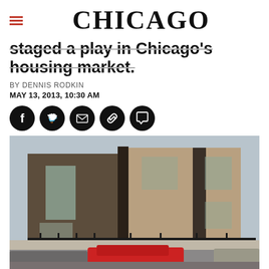CHICAGO
staged a play in Chicago's housing market.
BY DENNIS RODKIN
MAY 13, 2013, 10:30 AM
[Figure (infographic): Social media share icons: Facebook, Twitter, Email, Link, Comment — black circles]
[Figure (photo): Exterior photo of modern multi-unit residential townhouses in Chicago. Brown brick and dark wood buildings, two stories, with large windows. Cars parked on street in foreground including a red sedan.]